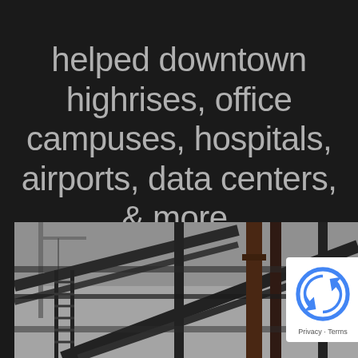helped downtown highrises, office campuses, hospitals, airports, data centers, & more.
[Figure (photo): Black and white photo of construction site showing steel scaffolding, structural beams, and a crane in the background against an overcast sky. A reCAPTCHA badge appears in the lower right corner with Privacy and Terms links.]